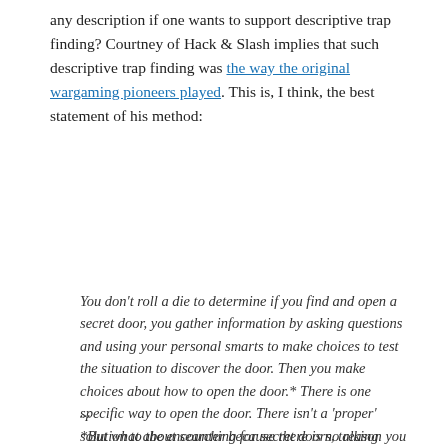any description if one wants to support descriptive trap finding? Courtney of Hack & Slash implies that such descriptive trap finding was the way the original wargaming pioneers played. This is, I think, the best statement of his method:
You don't roll a die to determine if you find and open a secret door, you gather information by asking questions and using your personal smarts to make choices to test the situation to discover the door. Then you make choices about how to open the door.* There is one specific way to open the door. There isn't a 'proper' solution to the encounter because there is no reason you are entitled to find the secret door and no reason it is necessary to find the secret door.
...
*But what about searching for secret doors, talking